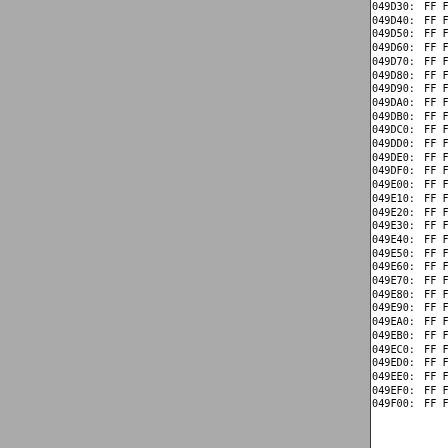[Figure (screenshot): Hex dump viewer showing memory addresses from 049D30 to 049F00, all bytes are FF. Left panel is gray (UI sidebar), right panel shows monospace hex data.]